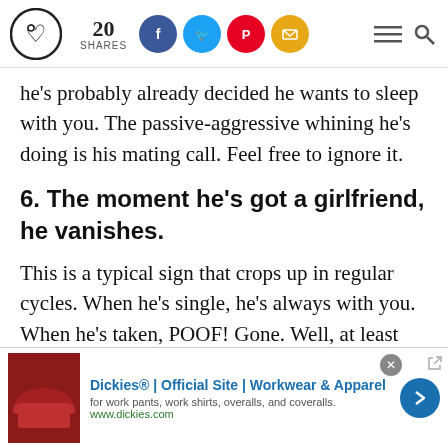20 SHARES
he's probably already decided he wants to sleep with you. The passive-aggressive whining he's doing is his mating call. Feel free to ignore it.
6. The moment he's got a girlfriend, he vanishes.
This is a typical sign that crops up in regular cycles. When he's single, he's always with you. When he's taken, POOF! Gone. Well, at least
[Figure (infographic): Advertisement banner for Dickies workwear showing a red leather couch image, Dickies official site text in blue, subtitle text, website URL, close button, navigation arrow]